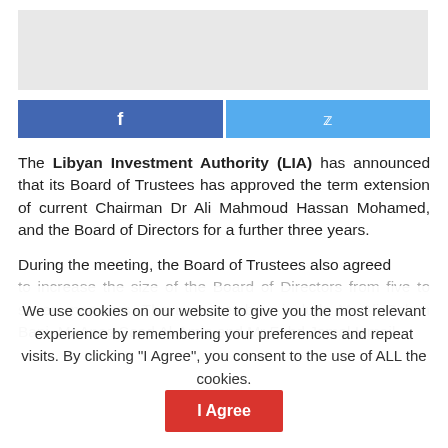[Figure (other): Gray placeholder image area at the top of the page]
[Figure (infographic): Social share buttons: Facebook (blue) and Twitter (light blue)]
The Libyan Investment Authority (LIA) has announced that its Board of Trustees has approved the term extension of current Chairman Dr Ali Mahmoud Hassan Mohamed, and the Board of Directors for a further three years.
During the meeting, the Board of Trustees also agreed to increase the size of the Board of Directors from five to seven members. The new members include Mr Ali Salem Bani, Mr Anas Saad Al-Amin and Mr Fahd Jamal Ismail.
We use cookies on our website to give you the most relevant experience by remembering your preferences and repeat visits. By clicking "I Agree", you consent to the use of ALL the cookies.